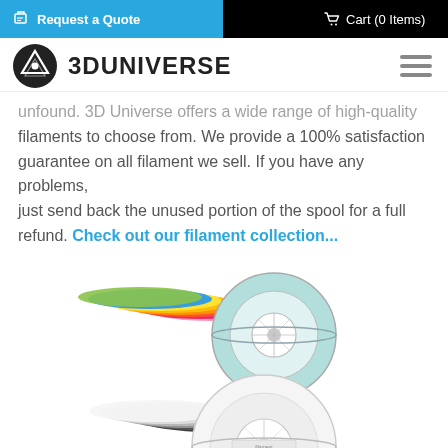Request a Quote   Cart (0 Items)
3DUNIVERSE
unfound. 3D Universe offers a wide range of high-quality filaments to choose from. We provide a 100% satisfaction guarantee on all filament we sell. If you have any problems, just send back the unused portion of the spool for a full refund. Check out our filament collection...
[Figure (photo): Two rows of colorful 3D printing filament spools stacked together. Top row has spools in pink, red, orange, yellow, blue, green and other colors. Bottom row has spools in black, gray, and white tones.]